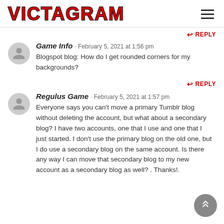VICTAGRAM
REPLY
Game Info · February 5, 2021 at 1:56 pm
Blogspot blog: How do I get rounded corners for my backgrounds?
REPLY
Regulus Game · February 5, 2021 at 1:57 pm
Everyone says you can't move a primary Tumblr blog without deleting the account, but what about a secondary blog? I have two accounts, one that I use and one that I just started. I don't use the primary blog on the old one, but I do use a secondary blog on the same account. Is there any way I can move that secondary blog to my new account as a secondary blog as well? . Thanks!.